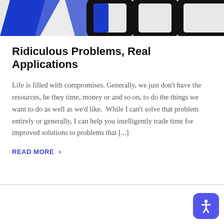[Figure (photo): Partial view of a 3D geometric shape or logo with blue and black angular forms on a light background]
Ridiculous Problems, Real Applications
Life is filled with compromises. Generally, we just don't have the resources, be they time, money or and so on, to do the things we want to do as well as we'd like.  While I can't solve that problem entirely or generally, I can help you intelligently trade time for improved solutions to problems that [...]
READ MORE >